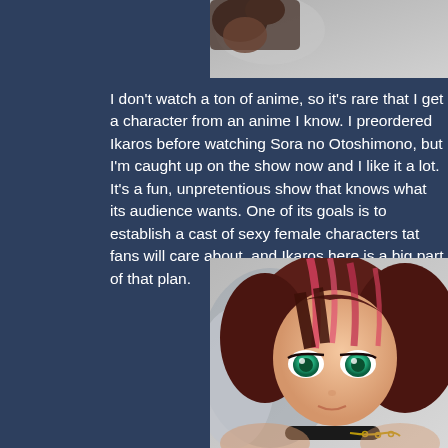[Figure (photo): Top cropped portion of an anime figure photograph showing hands and a blurred background]
I don't watch a ton of anime, so it's rare that I get a character from an anime I know. I preordered Ikaros before watching Sora no Otoshimono, but I'm caught up on the show now and I like it a lot. It's a fun, unpretentious show that knows what its audience wants. One of its goals is to establish a cast of sexy female characters that fans will care about, and Ikaros here is a big part of that plan.
[Figure (photo): Close-up photograph of an anime-style figure with red/brown hair, large green eyes, pale skin, and a black collar with chain]